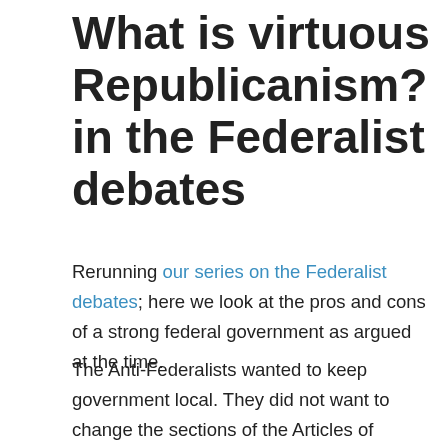What is virtuous Republicanism? in the Federalist debates
Rerunning our series on the Federalist debates; here we look at the pros and cons of a strong federal government as argued at the time.
The Anti-Federalists wanted to keep government local. They did not want to change the sections of the Articles of Confederation that gave power to state governments and relegated the federal government to handling defense and foreign relations. That is, they wanted a confederation, not a union, of sovereign states that decided on their own whether they would heed calls